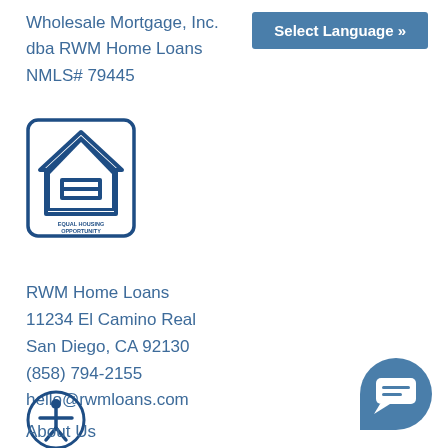Wholesale Mortgage, Inc.
dba RWM Home Loans
NMLS# 79445
[Figure (logo): Equal Housing Opportunity logo — house outline with an equals sign inside, and text 'EQUAL HOUSING OPPORTUNITY' below]
RWM Home Loans
11234 El Camino Real
San Diego, CA 92130
(858) 794-2155
hello@rwmloans.com
[Figure (logo): Accessibility icon — person in circle outline]
About Us
[Figure (other): Chat button — speech bubble icon on blue rounded square]
Select Language »